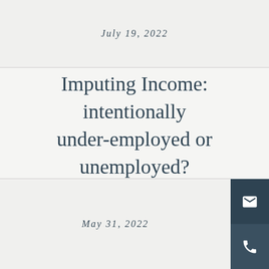July 19, 2022
Imputing Income: intentionally under-employed or unemployed?
May 31, 2022